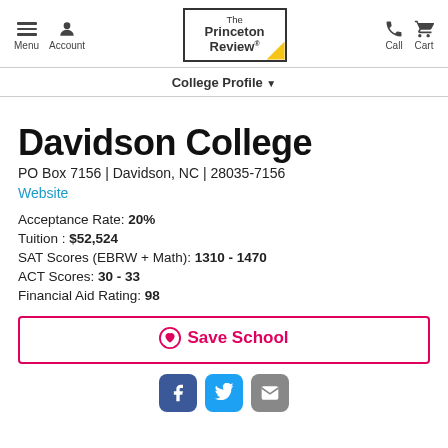The Princeton Review — Menu, Account, Call, Cart navigation
College Profile ▾
Davidson College
PO Box 7156 | Davidson, NC | 28035-7156
Website
Acceptance Rate: 20%
Tuition : $52,524
SAT Scores (EBRW + Math): 1310 - 1470
ACT Scores: 30 - 33
Financial Aid Rating: 98
♥ Save School
[Figure (other): Social sharing icons: Facebook, Twitter, Email]